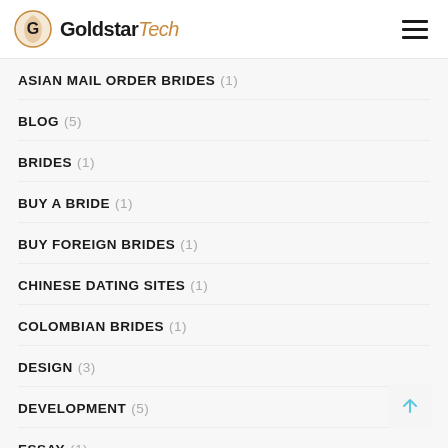GoldstarTech
ASIAN MAIL ORDER BRIDES (1)
BLOG (5)
BRIDES (1)
BUY A BRIDE (1)
BUY FOREIGN BRIDES (1)
CHINESE DATING SITES (1)
COLOMBIAN BRIDES (1)
DESIGN (3)
DEVELOPMENT (5)
ESSAY (1)
HOOKUP SITES (1)